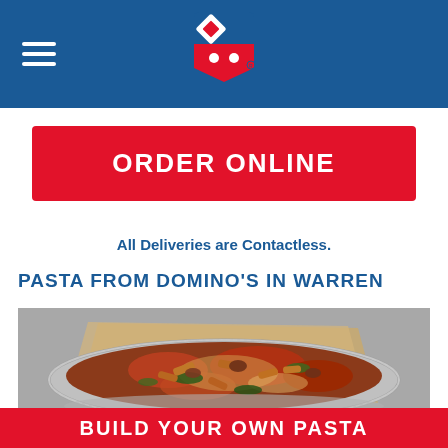Domino's Pizza header with logo and hamburger menu
ORDER ONLINE
All Deliveries are Contactless.
PASTA FROM DOMINO'S IN WARREN
[Figure (photo): A round aluminum foil baking pan filled with pasta (penne) with red sauce, melted cheese, sausage, and spinach, placed on brown parchment paper on a gray background.]
BUILD YOUR OWN PASTA